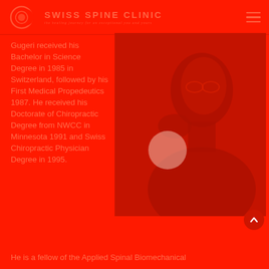Swiss Spine Clinic
Gugeri received his Bachelor in Science Degree in 1985 in Switzerland, followed by his First Medical Propedeutics 1987. He received his Doctorate of Chiropractic Degree from NWCC in Minnesota 1991 and Swiss Chiropractic Physician Degree in 1995.
[Figure (photo): Portrait photo of a man in professional attire, monochromatic red-toned image]
He is a fellow of the Applied Spinal Biomechanical